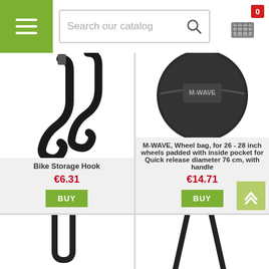Search our catalog
[Figure (photo): Bike Storage Hook - black metal S-shaped hooks product photo on white background]
Bike Storage Hook
€6.31
BUY
[Figure (photo): M-WAVE wheel bag - round black padded bag with M-WAVE logo, for 26-28 inch wheels]
M-WAVE, Wheel bag, for 26 - 28 inch wheels padded with inside pocket for Quick release diameter 76 cm, with handle
€14.71
BUY
[Figure (photo): Partially visible bicycle accessory product - bottom portion visible]
[Figure (photo): Partially visible bicycle stand or support product - bottom portion visible with metal legs]